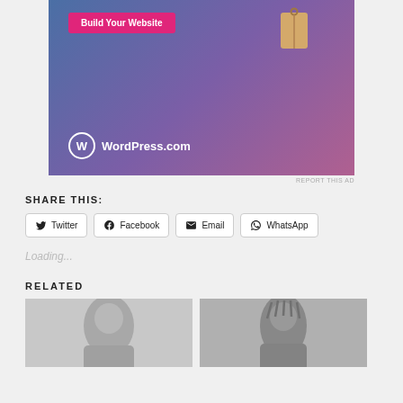[Figure (photo): WordPress.com advertisement banner showing 'Build Your Website' button with a price tag graphic and WordPress.com logo on a blue-purple-pink gradient background]
REPORT THIS AD
SHARE THIS:
Twitter  Facebook  Email  WhatsApp
Loading...
RELATED
[Figure (photo): Grayscale photo of a woman with dark hair looking slightly downward]
[Figure (photo): Grayscale photo of a woman with braided hair looking at the camera]